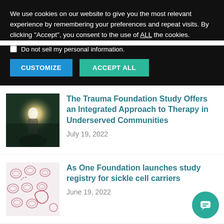We use cookies on our website to give you the most relevant experience by remembering your preferences and repeat visits. By clicking “Accept”, you consent to the use of ALL the cookies.
Do not sell my personal information.
CUSTOMIZE   ACCEPT ALL
[Figure (photo): Person sitting outdoors with sun shining through trees]
The Trauma Foundation Study Offers an Integrated Approach to Therapy in Underserved Communities
July 19, 2022
[Figure (photo): Microscope image of sickle cells]
As One Foundation launches study registry for sickle cell carriers
June 19, 2022